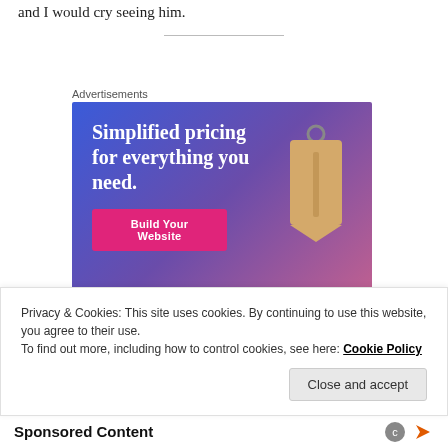and I would cry seeing him.
Advertisements
[Figure (illustration): Advertisement banner with gradient blue-purple-pink background showing 'Simplified pricing for everything you need.' with a pink 'Build Your Website' button and a tan price tag graphic on the right.]
Privacy & Cookies: This site uses cookies. By continuing to use this website, you agree to their use.
To find out more, including how to control cookies, see here: Cookie Policy
Close and accept
Sponsored Content